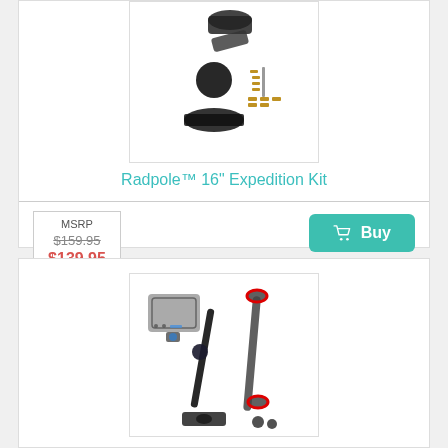[Figure (photo): Product photo of Radpole 16-inch Expedition Kit showing mounting hardware, ball joints, and screws on white background]
Radpole™ 16" Expedition Kit
MSRP $159.95 $139.95
Buy
[Figure (photo): Product photo showing camera mount kit with action camera housing, articulating arm, and pole mount components]